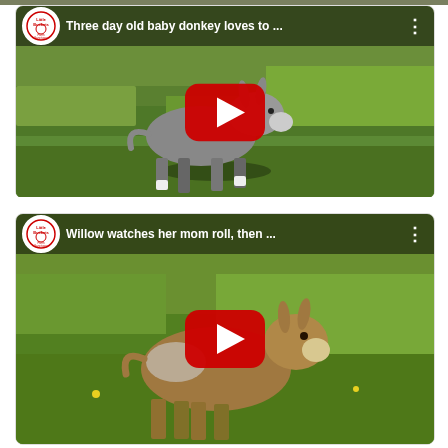[Figure (screenshot): YouTube video thumbnail for 'Three day old baby donkey loves to ...' from Little Buckets Farm Sanctuary, showing a baby donkey walking on green grass with a red YouTube play button overlay.]
[Figure (screenshot): YouTube video thumbnail for 'Willow watches her mom roll, then ...' from Little Buckets Farm Sanctuary, showing a baby donkey on green grass with a red YouTube play button overlay.]